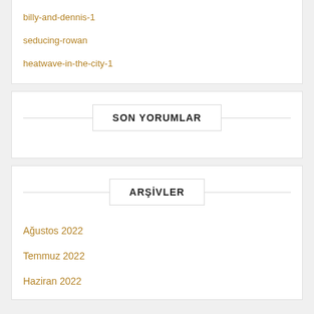billy-and-dennis-1
seducing-rowan
heatwave-in-the-city-1
SON YORUMLAR
ARŞİVLER
Ağustos 2022
Temmuz 2022
Haziran 2022